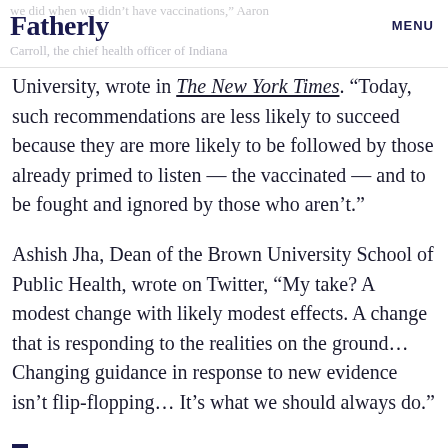Fatherly  MENU
University, wrote in The New York Times. “Today, such recommendations are less likely to succeed because they are more likely to be followed by those already primed to listen — the vaccinated — and to be fought and ignored by those who aren’t.”
Ashish Jha, Dean of the Brown University School of Public Health, wrote on Twitter, “My take? A modest change with likely modest effects. A change that is responding to the realities on the ground… Changing guidance in response to new evidence isn’t flip-flopping… It’s what we should always do.”